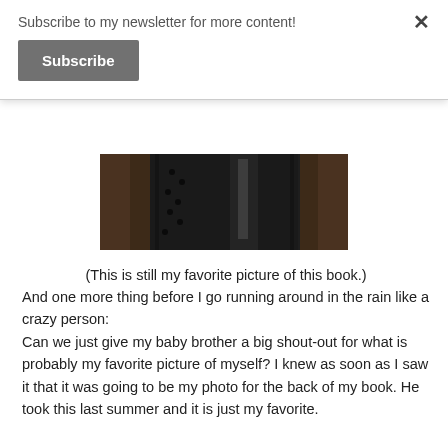Subscribe to my newsletter for more content!
Subscribe
[Figure (photo): Close-up dark photo, appears to be a book or textured surface with brown and dark tones]
(This is still my favorite picture of this book.)
And one more thing before I go running around in the rain like a crazy person:
Can we just give my baby brother a big shout-out for what is probably my favorite picture of myself? I knew as soon as I saw it that it was going to be my photo for the back of my book. He took this last summer and it is just my favorite.